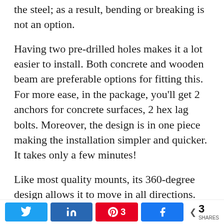the steel; as a result, bending or breaking is not an option.
Having two pre-drilled holes makes it a lot easier to install. Both concrete and wooden beam are preferable options for fitting this. For more ease, in the package, you'll get 2 anchors for concrete surfaces, 2 hex lag bolts. Moreover, the design is in one piece making the installation simpler and quicker. It takes only a few minutes!
Like most quality mounts, its 360-degree design allows it to move in all directions. And it adds flexibility to the design and usability, making it suitable for any place. Your practical MMA
Twitter | LinkedIn | Pinterest 3 | Facebook | < 3 SHARES